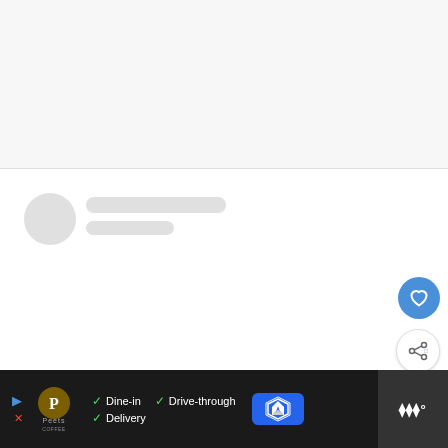[Figure (screenshot): Light gray loading/placeholder area at top of page]
[Figure (screenshot): White card section with circular avatar placeholder and two gray loading lines, heart button (blue circle), share button (white circle), What's Next panel showing '18 Fast Food Restaurants...' with thumbnail, and Instagram icon]
[Figure (screenshot): Bottom advertisement bar (dark/black background) for Peet's Coffee with Dine-in, Drive-through, Delivery options, a map/directions button, and a right panel with stylized text]